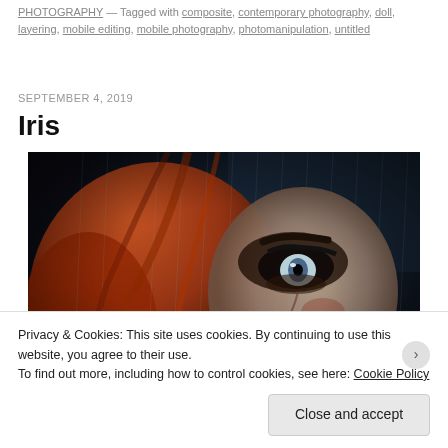PHOTOGRAPHY — Tagged with composite, contemporary photography, doll, layering, mobile editing, mobile photography, photomanipulation, untitled
SEPTEMBER 4, 2019
Iris
[Figure (photo): Dark manipulated photo of a doll or figure with red/orange hair and heavy eye makeup against a dark blue background with rain effect]
Privacy & Cookies: This site uses cookies. By continuing to use this website, you agree to their use. To find out more, including how to control cookies, see here: Cookie Policy
Close and accept